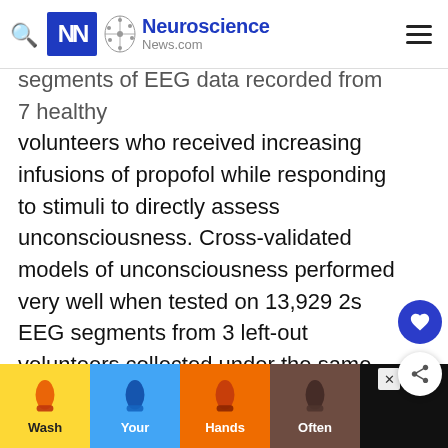Neuroscience News.com
segments of EEG data recorded from 7 healthy volunteers who received increasing infusions of propofol while responding to stimuli to directly assess unconsciousness. Cross-validated models of unconsciousness performed very well when tested on 13,929 2s EEG segments from 3 left-out volunteers collected under the same conditions (median volunteer AUCs 0.99–0.99).
[Figure (other): Advertisement banner at bottom showing 'Wash Your Hands Often' public health message with hand icons on colored backgrounds]